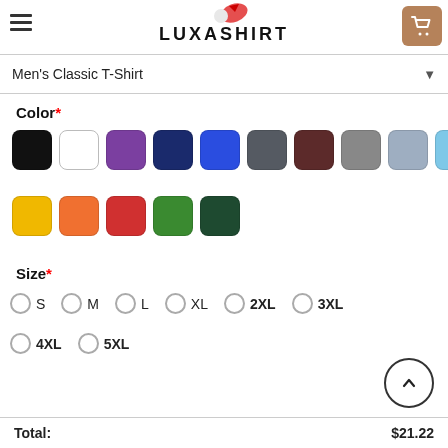LUXASHIRT
Men's Classic T-Shirt
Color*
[Figure (infographic): Color swatches: row 1: black, white, purple, dark navy, royal blue, dark gray, dark maroon, gray, light blue-gray, sky blue, cream/beige. Row 2: yellow, orange, red, green, dark green.]
Size*
S  M  L  XL  2XL  3XL  4XL  5XL
Total:  $21.22